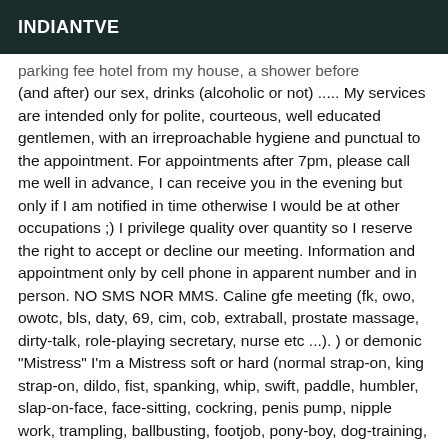INDIANTVE
...parking fee hotel from my house, a shower before (and after) our sex, drinks (alcoholic or not) ..... My services are intended only for polite, courteous, well educated gentlemen, with an irreproachable hygiene and punctual to the appointment. For appointments after 7pm, please call me well in advance, I can receive you in the evening but only if I am notified in time otherwise I would be at other occupations ;) I privilege quality over quantity so I reserve the right to accept or decline our meeting. Information and appointment only by cell phone in apparent number and in person. NO SMS NOR MMS. Caline gfe meeting (fk, owo, owotc, bls, daty, 69, cim, cob, extraball, prostate massage, dirty-talk, role-playing secretary, nurse etc ...). ) or demonic "Mistress" I'm a Mistress soft or hard (normal strap-on, king strap-on, dildo, fist, spanking, whip, swift, paddle, humbler, slap-on-face, face-sitting, cockring, penis pump, nipple work, trampling, ballbusting, footjob, pony-boy, dog-training,